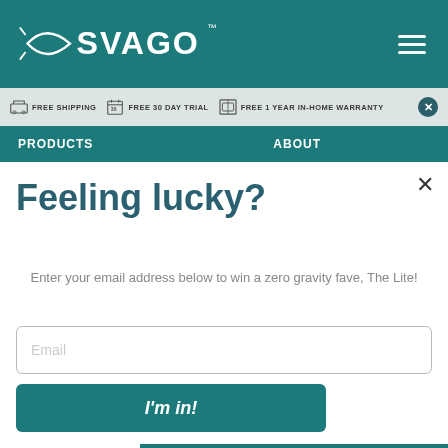[Figure (logo): SVAGO brand logo with stylized fish/arrow icon in white on teal background]
FREE SHIPPING   FREE 30 DAY TRIAL   FREE 1 YEAR IN-HOME WARRANTY
PRODUCTS   ABOUT
Feeling lucky?
Enter your email address below to win a zero gravity fave, The Lite!
Email
I'm in!
Chat now
By submitting your email addre...